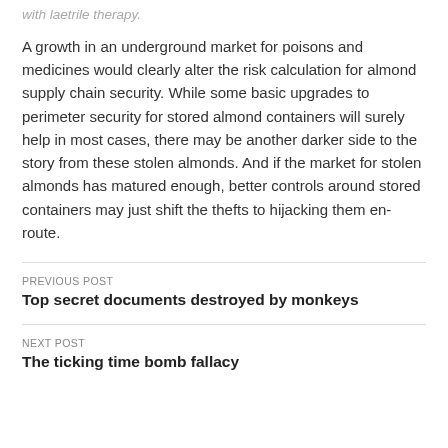with laetrile therapy.
A growth in an underground market for poisons and medicines would clearly alter the risk calculation for almond supply chain security. While some basic upgrades to perimeter security for stored almond containers will surely help in most cases, there may be another darker side to the story from these stolen almonds. And if the market for stolen almonds has matured enough, better controls around stored containers may just shift the thefts to hijacking them en-route.
PREVIOUS POST
Top secret documents destroyed by monkeys
NEXT POST
The ticking time bomb fallacy